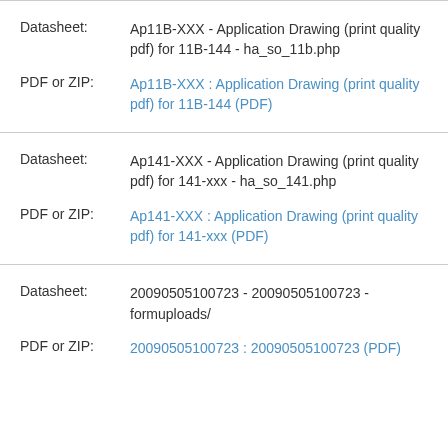Datasheet: Ap11B-XXX - Application Drawing (print quality pdf) for 11B-144 - ha_so_11b.php
PDF or ZIP: Ap11B-XXX : Application Drawing (print quality pdf) for 11B-144 (PDF)
Datasheet: Ap141-XXX - Application Drawing (print quality pdf) for 141-xxx - ha_so_141.php
PDF or ZIP: Ap141-XXX : Application Drawing (print quality pdf) for 141-xxx (PDF)
Datasheet: 20090505100723 - 20090505100723 - formuploads/
PDF or ZIP: 20090505100723 : 20090505100723 (PDF)